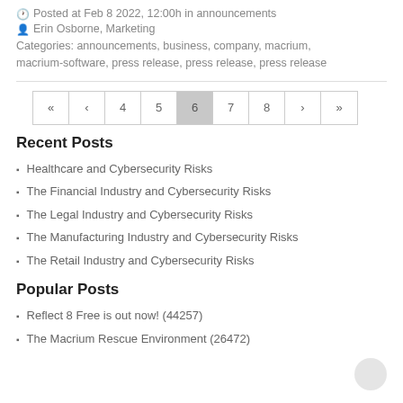Posted at Feb 8 2022, 12:00h in announcements
Erin Osborne, Marketing
Categories: announcements, business, company, macrium, macrium-software, press release, press release, press release
| « | < | 4 | 5 | 6 | 7 | 8 | > | » |
Recent Posts
Healthcare and Cybersecurity Risks
The Financial Industry and Cybersecurity Risks
The Legal Industry and Cybersecurity Risks
The Manufacturing Industry and Cybersecurity Risks
The Retail Industry and Cybersecurity Risks
Popular Posts
Reflect 8 Free is out now! (44257)
The Macrium Rescue Environment (26472)